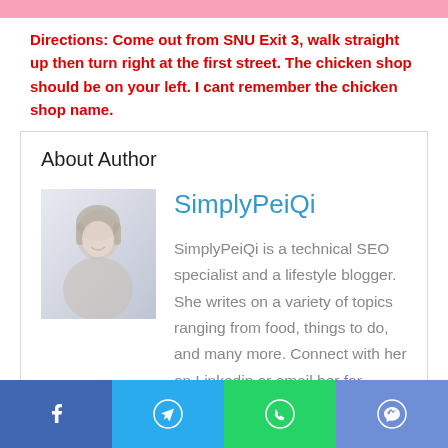Directions: Come out from SNU Exit 3, walk straight up then turn right at the first street. The chicken shop should be on your left. I cant remember the chicken shop name.
About Author
[Figure (photo): Author photo of SimplyPeiQi, a person with light hair against a light background]
SimplyPeiQi
SimplyPeiQi is a technical SEO specialist and a lifestyle blogger. She writes on a variety of topics ranging from food, things to do, and many more. Connect with her on Linkedin or email her for collaboration/partnerships.
See author's posts
Share buttons: Facebook, Telegram, WhatsApp, Messenger